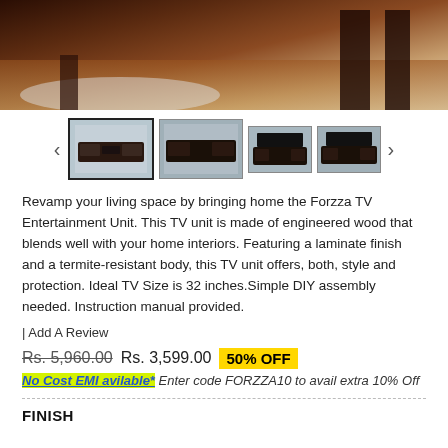[Figure (photo): Main product photo showing a dark wood TV unit in a living room setting with hardwood floors]
[Figure (photo): Row of four thumbnail images of the Forzza TV Entertainment Unit from different angles, with left and right navigation arrows]
Revamp your living space by bringing home the Forzza TV Entertainment Unit. This TV unit is made of engineered wood that blends well with your home interiors. Featuring a laminate finish and a termite-resistant body, this TV unit offers, both, style and protection. Ideal TV Size is 32 inches.Simple DIY assembly needed. Instruction manual provided.
| Add A Review
Rs. 5,960.00 Rs. 3,599.00 50% OFF
No Cost EMI avilable* Enter code FORZZA10 to avail extra 10% Off
FINISH